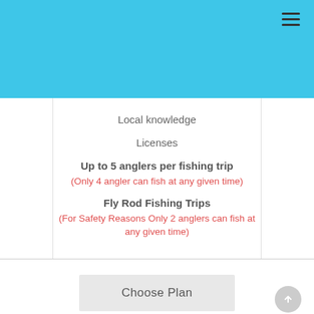Local knowledge
Licenses
Up to 5 anglers per fishing trip
(Only 4 angler can fish at any given time)
Fly Rod Fishing Trips
(For Safety Reasons Only 2 anglers can fish at any given time)
Choose Plan